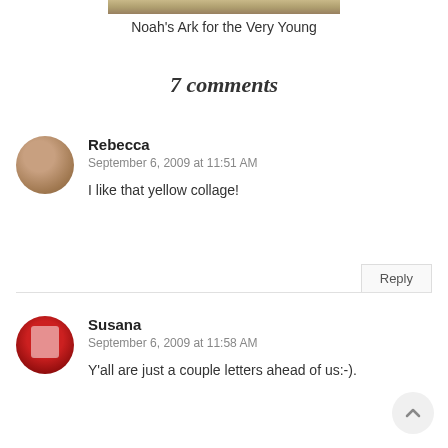[Figure (photo): Partial image at top of page, appears to be a book cover or illustration]
Noah's Ark for the Very Young
7 comments
Rebecca
September 6, 2009 at 11:51 AM
I like that yellow collage!
Susana
September 6, 2009 at 11:58 AM
Y'all are just a couple letters ahead of us:-).